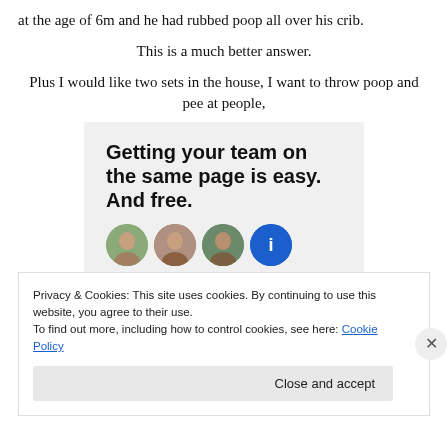at the age of 6m and he had rubbed poop all over his crib.
This is a much better answer.
Plus I would like two sets in the house, I want to throw poop and pee at people,
[Figure (screenshot): Advertisement banner with bold text: 'Getting your team on the same page is easy. And free.' with circular avatar photos below.]
Privacy & Cookies: This site uses cookies. By continuing to use this website, you agree to their use.
To find out more, including how to control cookies, see here: Cookie Policy
Close and accept